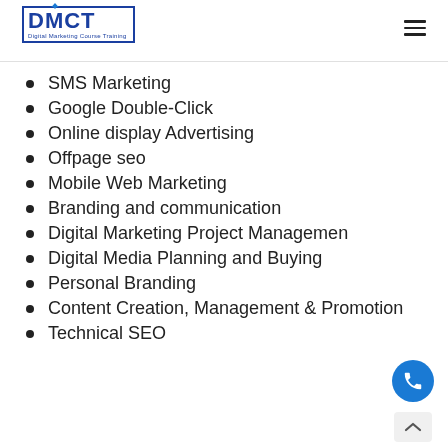DMCT - Digital Marketing Course Training
SMS Marketing
Google Double-Click
Online display Advertising
Offpage seo
Mobile Web Marketing
Branding and communication
Digital Marketing Project Managemen
Digital Media Planning and Buying
Personal Branding
Content Creation, Management & Promotion
Technical SEO